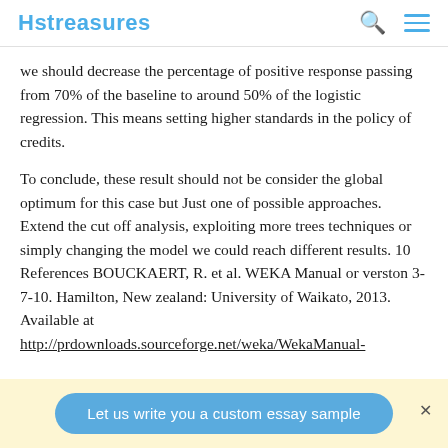Hstreasures
we should decrease the percentage of positive response passing from 70% of the baseline to around 50% of the logistic regression. This means setting higher standards in the policy of credits.
To conclude, these result should not be consider the global optimum for this case but Just one of possible approaches. Extend the cut off analysis, exploiting more trees techniques or simply changing the model we could reach different results. 10 References BOUCKAERT, R. et al. WEKA Manual or verston 3-7-10. Hamilton, New zealand: University of Waikato, 2013. Available at http://prdownloads.sourceforge.net/weka/WekaManual-
Let us write you a custom essay sample